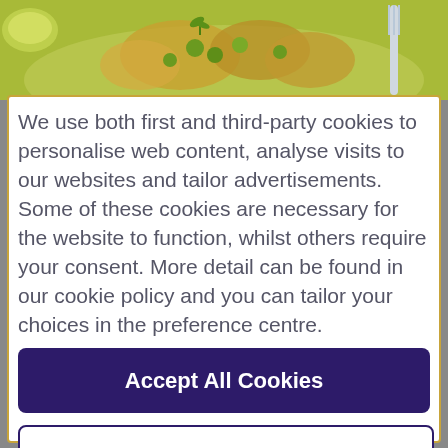[Figure (photo): Food photo showing a dish with green sauce, meatballs or similar food items, and garnish on a plate, with a fork visible]
We use both first and third-party cookies to personalise web content, analyse visits to our websites and tailor advertisements. Some of these cookies are necessary for the website to function, whilst others require your consent. More detail can be found in our cookie policy and you can tailor your choices in the preference centre.
Accept All Cookies
Cookies Settings